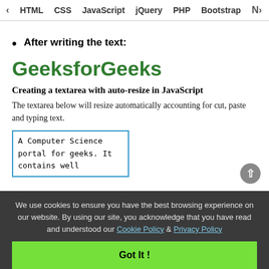< HTML  CSS  JavaScript  jQuery  PHP  Bootstrap  N>
After writing the text:
GeeksforGeeks
Creating a textarea with auto-resize in JavaScript
The textarea below will resize automatically accounting for cut, paste and typing text.
A Computer Science portal for geeks. It contains well
We use cookies to ensure you have the best browsing experience on our website. By using our site, you acknowledge that you have read and understood our Cookie Policy & Privacy Policy
Got It !